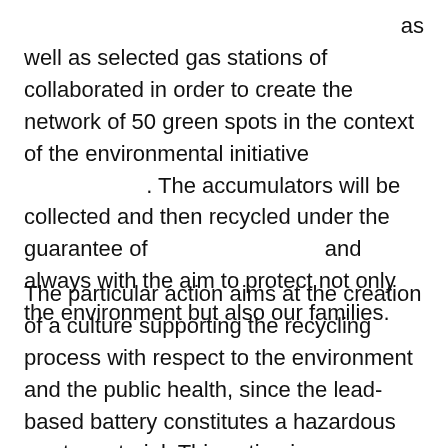as
well as selected gas stations of collaborated in order to create the network of 50 green spots in the context of the environmental initiative                    . The accumulators will be collected and then recycled under the guarantee of                          and always with the aim to protect not only the environment but also our families.
The particular action aims at the creation of a culture supporting the recycling process with respect to the environment and the public health, since the lead-based battery constitutes a hazardous waste material. This action is even more valuable and important if someone contemplates the unfavorable effects arising from the illegal circulation of batteries